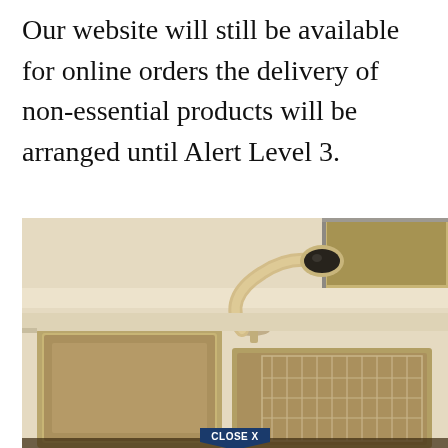Our website will still be available for online orders the delivery of non-essential products will be arranged until Alert Level 3.
[Figure (photo): A stainless steel kitchen sink with a chrome pull-out faucet and a dish drying rack on the right side. A window with a view of outdoor greenery is visible in the upper right corner. A 'CLOSE X' button overlay appears at the bottom center of the image.]